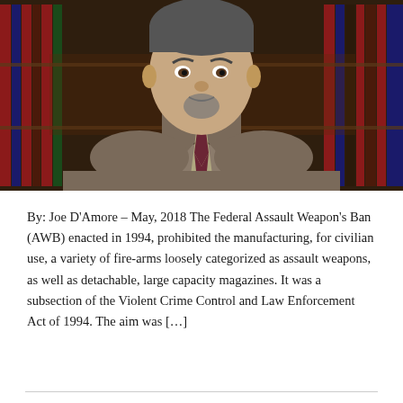[Figure (photo): Professional headshot of Joe D'Amore, a middle-aged man in a brown suit and dark patterned tie, seated in front of a bookshelf filled with dark law books.]
By: Joe D'Amore – May, 2018 The Federal Assault Weapon's Ban (AWB) enacted in 1994, prohibited the manufacturing, for civilian use, a variety of fire-arms loosely categorized as assault weapons, as well as detachable, large capacity magazines. It was a subsection of the Violent Crime Control and Law Enforcement Act of 1994. The aim was […]